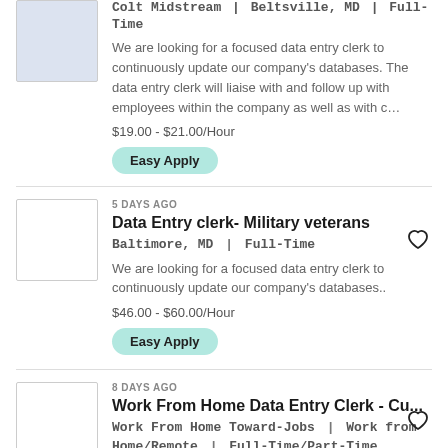Colt Midstream | Beltsville, MD | Full-Time
We are looking for a focused data entry clerk to continuously update our company's databases. The data entry clerk will liaise with and follow up with employees within the company as well as with c...
$19.00 - $21.00/Hour
Easy Apply
5 DAYS AGO
Data Entry clerk- Military veterans
Baltimore, MD | Full-Time
We are looking for a focused data entry clerk to continuously update our company's databases..
$46.00 - $60.00/Hour
Easy Apply
8 DAYS AGO
Work From Home Data Entry Clerk - Cu...
Work From Home Toward-Jobs | Work from Home/Remote | Full-Time/Part-Time
Work From Home Data Entry Clerk – Customer Service